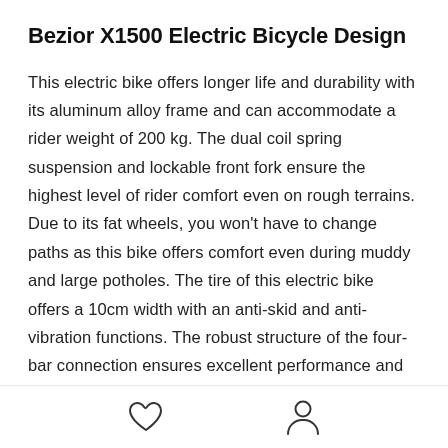Bezior X1500 Electric Bicycle Design
This electric bike offers longer life and durability with its aluminum alloy frame and can accommodate a rider weight of 200 kg. The dual coil spring suspension and lockable front fork ensure the highest level of rider comfort even on rough terrains. Due to its fat wheels, you won't have to change paths as this bike offers comfort even during muddy and large potholes. The tire of this electric bike offers a 10cm width with an anti-skid and anti-vibration functions. The robust structure of the four-bar connection ensures excellent performance and shock resistance. The
[Figure (other): Footer bar with two icons: a heart icon (favorites) and a person/user icon]